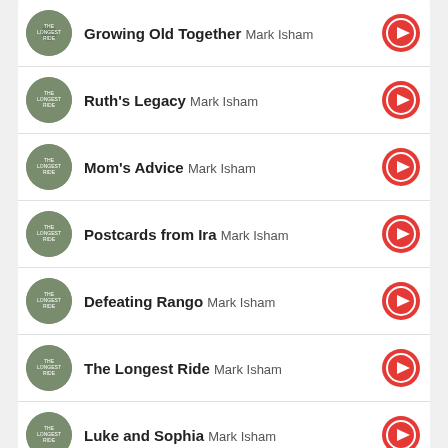Growing Old Together  Mark Isham
Ruth's Legacy  Mark Isham
Mom's Advice  Mark Isham
Postcards from Ira  Mark Isham
Defeating Rango  Mark Isham
The Longest Ride  Mark Isham
Luke and Sophia  Mark Isham
ALSO ON INSOUNDTRACK
[Figure (illustration): Two placeholder card images below the ALSO ON INSOUNDTRACK section]